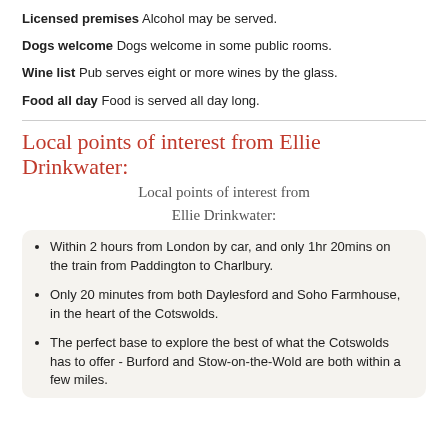Licensed premises  Alcohol may be served.
Dogs welcome  Dogs welcome in some public rooms.
Wine list  Pub serves eight or more wines by the glass.
Food all day  Food is served all day long.
Local points of interest from Ellie Drinkwater:
Local points of interest from Ellie Drinkwater:
Within 2 hours from London by car, and only 1hr 20mins on the train from Paddington to Charlbury.
Only 20 minutes from both Daylesford and Soho Farmhouse, in the heart of the Cotswolds.
The perfect base to explore the best of what the Cotswolds has to offer - Burford and Stow-on-the-Wold are both within a few miles.